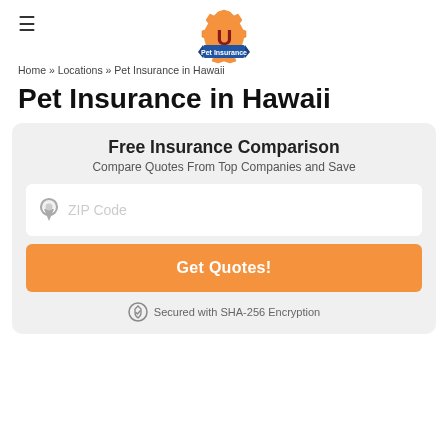≡ [Pet Insurance U Logo]
Home » Locations » Pet Insurance in Hawaii
Pet Insurance in Hawaii
Free Insurance Comparison
Compare Quotes From Top Companies and Save
ZIP Code
Get Quotes!
Secured with SHA-256 Encryption